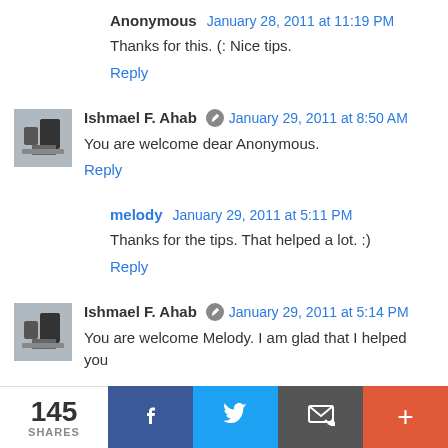Anonymous January 28, 2011 at 11:19 PM
Thanks for this. (: Nice tips.
Reply
Ishmael F. Ahab January 29, 2011 at 8:50 AM
You are welcome dear Anonymous.
Reply
melody January 29, 2011 at 5:11 PM
Thanks for the tips. That helped a lot. :)
Reply
Ishmael F. Ahab January 29, 2011 at 5:14 PM
You are welcome Melody. I am glad that I helped you
145 SHARES